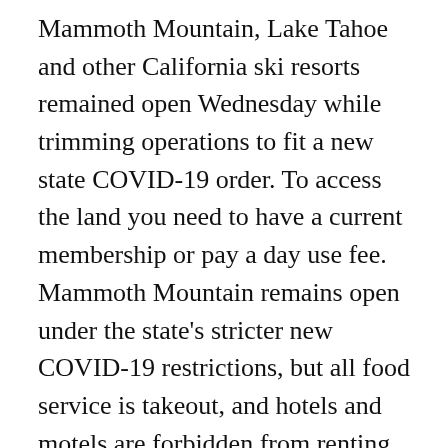Mammoth Mountain, Lake Tahoe and other California ski resorts remained open Wednesday while trimming operations to fit a new state COVID-19 order. To access the land you need to have a current membership or pay a day use fee. Mammoth Mountain remains open under the state's stricter new COVID-19 restrictions, but all food service is takeout, and hotels and motels are forbidden from renting to leisure travelers. That depends on whether crews are already doing sidewalk repairs in the neighborhood as well as the severity of damage to the sidewalk. It's unclear how well lodging operators understand or intend to follow the governor's order. Among ski resorts statewide,